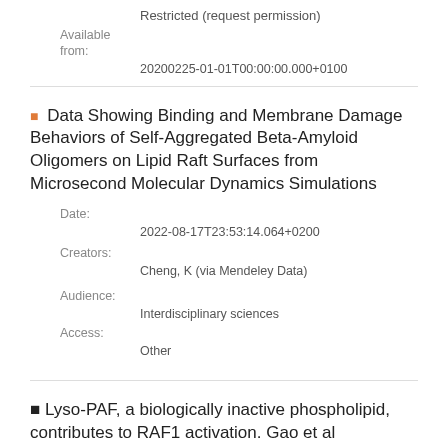Restricted (request permission)
Available from:
20200225-01-01T00:00:00.000+0100
Data Showing Binding and Membrane Damage Behaviors of Self-Aggregated Beta-Amyloid Oligomers on Lipid Raft Surfaces from Microsecond Molecular Dynamics Simulations
Date:
2022-08-17T23:53:14.064+0200
Creators:
Cheng, K (via Mendeley Data)
Audience:
Interdisciplinary sciences
Access:
Other
Lyso-PAF, a biologically inactive phospholipid, contributes to RAF1 activation. Gao et al